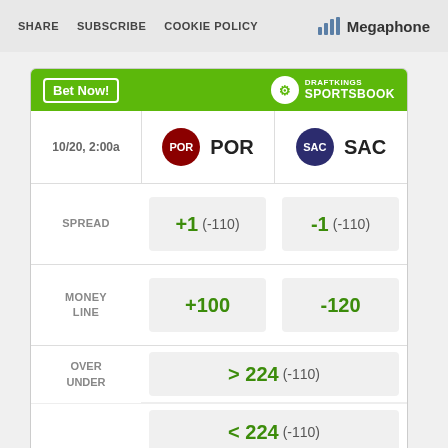SHARE  SUBSCRIBE  COOKIE POLICY  |  Megaphone
[Figure (infographic): DraftKings Sportsbook betting widget showing POR vs SAC game on 10/20 2:00a. Spread: +1 (-110) / -1 (-110). Money Line: +100 / -120. Over/Under: > 224 (-110) / < 224 (-110).]
[Figure (logo): IBM advertisement banner with AD tag]